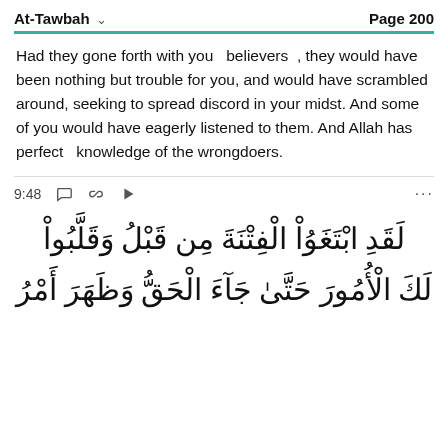At-Tawbah   Page 200
Had they gone forth with you  believers , they would have been nothing but trouble for you, and would have scrambled around, seeking to spread discord in your midst. And some of you would have eagerly listened to them. And Allah has  perfect  knowledge of the wrongdoers.
9:48
لَقَدِ ابْتَغَوُاْ ٱلْفِتْنَةَ مِن قَبْلُ وَقَلَّبُواْ لَكَ ٱلْأُمُورَ حَتَّىٰ جَآءَ ٱلْحَقُّ وَظَهَرَ أَمْرُ